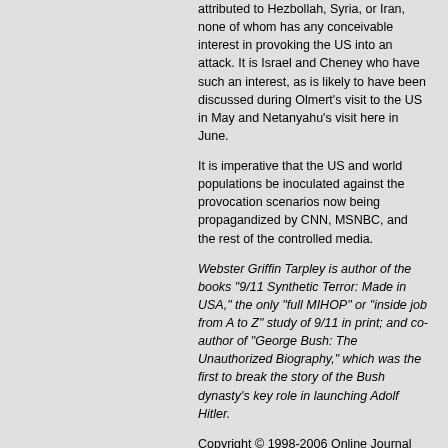attributed to Hezbollah, Syria, or Iran, none of whom has any conceivable interest in provoking the US into an attack. It is Israel and Cheney who have such an interest, as is likely to have been discussed during Olmert's visit to the US in May and Netanyahu's visit here in June.
It is imperative that the US and world populations be inoculated against the provocation scenarios now being propagandized by CNN, MSNBC, and the rest of the controlled media.
Webster Griffin Tarpley is author of the books "9/11 Synthetic Terror: Made in USA," the only "full MIHOP" or "inside job from A to Z" study of 9/11 in print; and co-author of "George Bush: The Unauthorized Biography," which was the first to break the story of the Bush dynasty's key role in launching Adolf Hitler.
Copyright © 1998-2006 Online Journal
Email Online Journal Editor
Top of Page